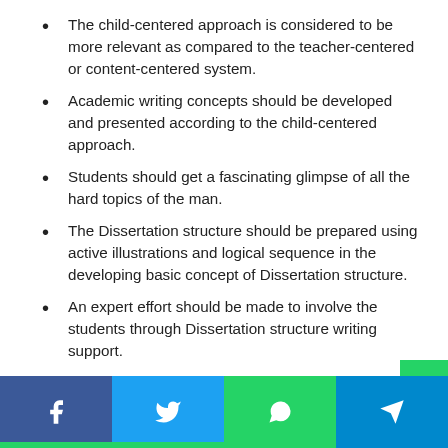The child-centered approach is considered to be more relevant as compared to the teacher-centered or content-centered system.
Academic writing concepts should be developed and presented according to the child-centered approach.
Students should get a fascinating glimpse of all the hard topics of the man.
The Dissertation structure should be prepared using active illustrations and logical sequence in the developing basic concept of Dissertation structure.
An expert effort should be made to involve the students through Dissertation structure writing support.
Innovative aids must be used in class to attract the students' attention and indulge them in the class.